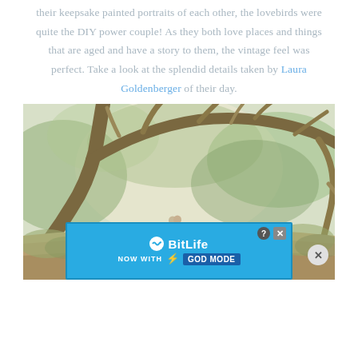their keepsake painted portraits of each other, the lovebirds were quite the DIY power couple! As they both love places and things that are aged and have a story to them, the vintage feel was perfect. Take a look at the splendid details taken by Laura Goldenberger of their day.
[Figure (photo): Outdoor wedding photo of a couple embracing on a dirt path beneath large overhanging oak tree branches, with dappled natural light and green foliage in the background. An advertisement banner for BitLife 'Now With God Mode' overlays the bottom portion of the image.]